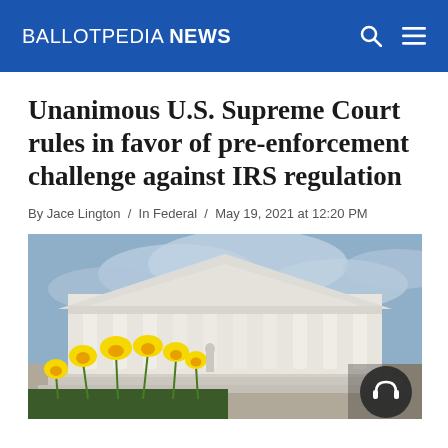BALLOTPEDIA NEWS
Unanimous U.S. Supreme Court rules in favor of pre-enforcement challenge against IRS regulation
By Jace Lington / In Federal / May 19, 2021 at 12:20 PM
[Figure (photo): Photo of the U.S. Supreme Court building with yellow daffodil flowers in the foreground and a cloudy sky in the background. A circular dark button with a headphone icon is overlaid in the bottom right corner.]